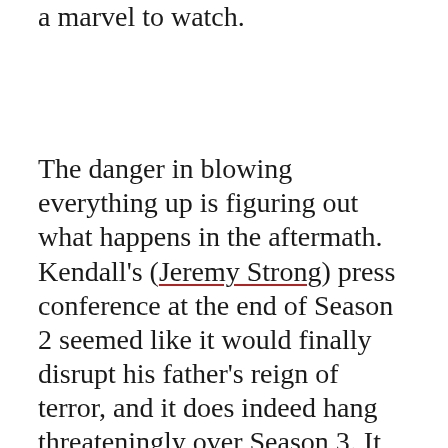a marvel to watch.
The danger in blowing everything up is figuring out what happens in the aftermath. Kendall's (Jeremy Strong) press conference at the end of Season 2 seemed like it would finally disrupt his father's reign of terror, and it does indeed hang threateningly over Season 3. It pits Kendall and his siblings — Roman (Kieran Culkin), Shiv (Sarah Snook), and Connor (Alan Ruck) — against each other; it gives Logan (Brian Cox) an adversary in the form of a Department of Justice investigation.